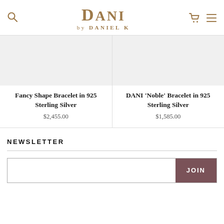DANI by DANIEL K — navigation header with search, logo, cart, and menu icons
[Figure (other): Product image placeholder area for Fancy Shape Bracelet in 925 Sterling Silver]
Fancy Shape Bracelet in 925 Sterling Silver
$2,455.00
[Figure (other): Product image placeholder area for DANI 'Noble' Bracelet in 925 Sterling Silver]
DANI 'Noble' Bracelet in 925 Sterling Silver
$1,585.00
NEWSLETTER
JOIN (email newsletter sign-up form with JOIN button)